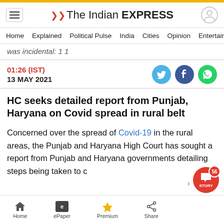The Indian EXPRESS
Home  Explained  Political Pulse  India  Cities  Opinion  Entertainment
was incidental: 1 1
01:26 (IST)
13 MAY 2021
HC seeks detailed report from Punjab, Haryana on Covid spread in rural belt
Concerned over the spread of Covid-19 in the rural areas, the Punjab and Haryana High Court has sought a report from Punjab and Haryana governments detailing steps being taken to curb the virus in rural belt.
Home  ePaper  Premium  Share  STORY